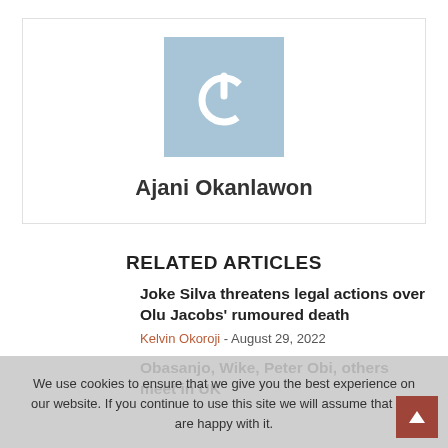[Figure (illustration): Author avatar placeholder: light blue square with white power/shutdown icon in center]
Ajani Okanlawon
RELATED ARTICLES
Joke Silva threatens legal actions over Olu Jacobs' rumoured death
Kelvin Okoroji - August 29, 2022
Obasanjo, Wike, Peter Obi, others meet in UK
We use cookies to ensure that we give you the best experience on our website. If you continue to use this site we will assume that you are happy with it.